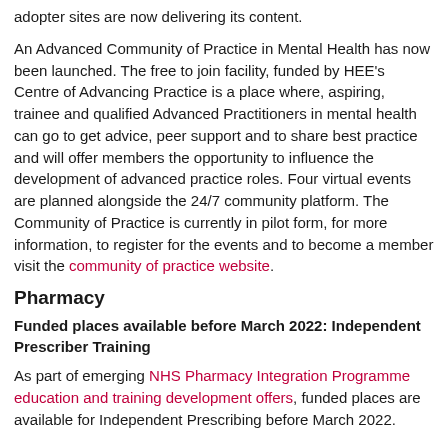adopter sites are now delivering its content.
An Advanced Community of Practice in Mental Health has now been launched. The free to join facility, funded by HEE's Centre of Advancing Practice is a place where, aspiring, trainee and qualified Advanced Practitioners in mental health can go to get advice, peer support and to share best practice and will offer members the opportunity to influence the development of advanced practice roles. Four virtual events are planned alongside the 24/7 community platform. The Community of Practice is currently in pilot form, for more information, to register for the events and to become a member visit the community of practice website.
Pharmacy
Funded places available before March 2022: Independent Prescriber Training
As part of emerging NHS Pharmacy Integration Programme education and training development offers, funded places are available for Independent Prescribing before March 2022.